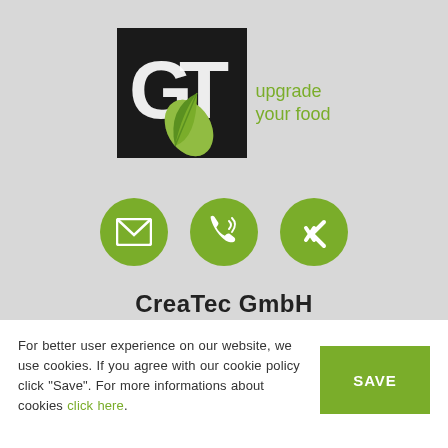[Figure (logo): CreaTec GmbH logo: black square with white stylized 'G' and 'T' letters, overlapping green leaf, with green text 'upgrade your food' to the right]
[Figure (infographic): Three green circular icon buttons: email/envelope icon, phone/call icon, and XING social network icon]
CreaTec GmbH
For better user experience on our website, we use cookies. If you agree with our cookie policy click "Save". For more informations about cookies click here.